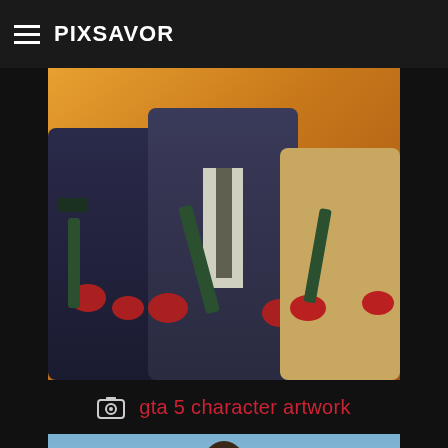PIXSAVOR
[Figure (illustration): GTA 5 character artwork showing three armed characters with weapons against an orange background]
gta 5 character artwork
[Figure (screenshot): GTA 5 screenshot showing a character holding a baseball bat outdoors near a chain-link fence]